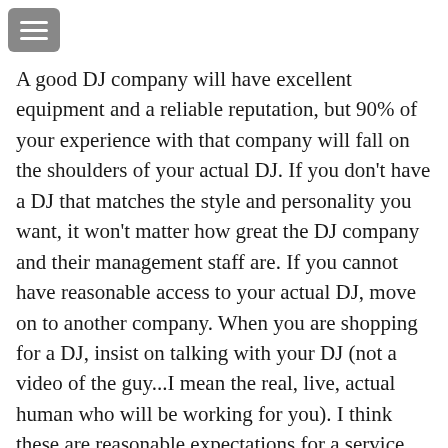[Figure (other): Hamburger menu icon button (three horizontal lines on grey rounded rectangle background)]
A good DJ company will have excellent equipment and a reliable reputation, but 90% of your experience with that company will fall on the shoulders of your actual DJ. If you don't have a DJ that matches the style and personality you want, it won't matter how great the DJ company and their management staff are. If you cannot have reasonable access to your actual DJ, move on to another company. When you are shopping for a DJ, insist on talking with your DJ (not a video of the guy...I mean the real, live, actual human who will be working for you). I think these are reasonable expectations for a service that will probably cost you around $1,300 for the day.
Larger DJ companies are under tremendous pressure to sell, sell, sell and book all their dates. The wedding season in Vermont lasts about 22 weeks. In order to fill 15 slots per Saturday, large companies need to convince 330 couples to hire them. That's a lot of